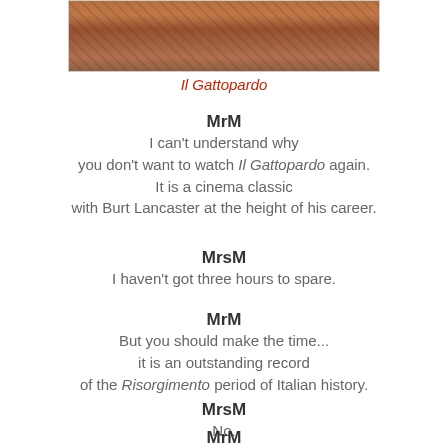[Figure (photo): A scene from Il Gattopardo showing figures in period costume on a battlefield or outdoor scene.]
Il Gattopardo
MrM
I can't understand why
you don't want to watch Il Gattopardo again.
It is a cinema classic
with Burt Lancaster at the height of his career.
MrsM
I haven't got three hours to spare.
MrM
But you should make the time...
it is an outstanding record
of the Risorgimento period of Italian history.
MrsM
No.
MrM